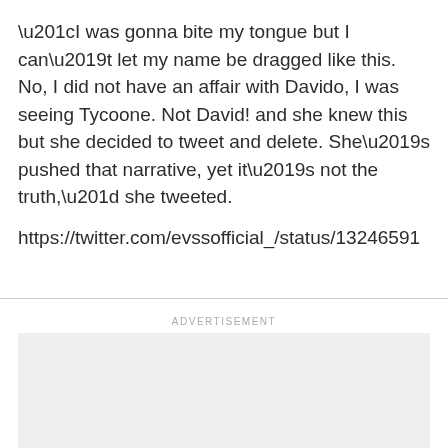“I was gonna bite my tongue but I can’t let my name be dragged like this. No, I did not have an affair with Davido, I was seeing Tycoone. Not David! and she knew this but she decided to tweet and delete. She’s pushed that narrative, yet it’s not the truth,” she tweeted.
https://twitter.com/evssofficial_/status/13246591
ADVERTISEMENT